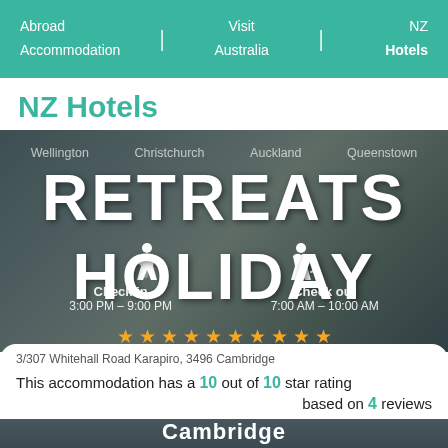Abroad Accommodation | Visit Australia | NZ Hotels
NZ Hotels
[Figure (photo): Hotel room interior with large text overlay reading RETREATS HOLIDAY, check-in/check-out times, city navigation links, and a row of gold star ratings]
3/307 Whitehall Road Karapiro, 3496 Cambridge
This accommodation has a 10 out of 10 star rating based on 4 reviews
Cambridge